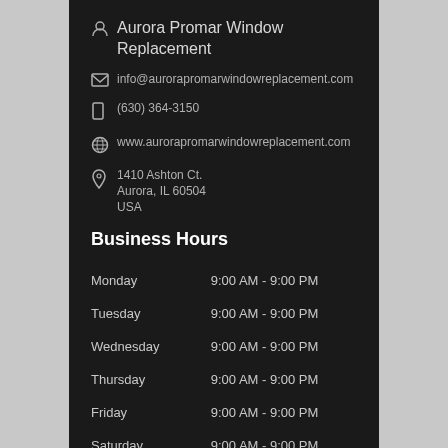Aurora Promar Window Replacement
info@aurorapromarwindowreplacement.com
(630) 364-3150
www.aurorapromarwindowreplacement.com
1410 Ashton Ct.
Aurora, IL 60504
USA
Business Hours
| Day | Hours |
| --- | --- |
| Monday | 9:00 AM - 9:00 PM |
| Tuesday | 9:00 AM - 9:00 PM |
| Wednesday | 9:00 AM - 9:00 PM |
| Thursday | 9:00 AM - 9:00 PM |
| Friday | 9:00 AM - 9:00 PM |
| Saturday | 9:00 AM - 9:00 PM |